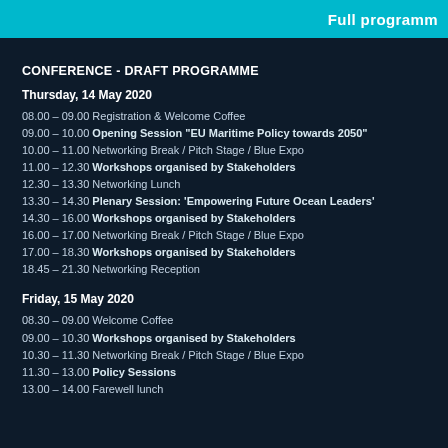Full programme
CONFERENCE - DRAFT PROGRAMME
Thursday, 14 May 2020
08.00 – 09.00 Registration & Welcome Coffee
09.00 – 10.00 Opening Session "EU Maritime Policy towards 2050"
10.00 – 11.00 Networking Break / Pitch Stage / Blue Expo
11.00 – 12.30 Workshops organised by Stakeholders
12.30 – 13.30 Networking Lunch
13.30 – 14.30 Plenary Session: 'Empowering Future Ocean Leaders'
14.30 – 16.00 Workshops organised by Stakeholders
16.00 – 17.00 Networking Break / Pitch Stage / Blue Expo
17.00 – 18.30 Workshops organised by Stakeholders
18.45 – 21.30 Networking Reception
Friday, 15 May 2020
08.30 – 09.00 Welcome Coffee
09.00 – 10.30 Workshops organised by Stakeholders
10.30 – 11.30 Networking Break / Pitch Stage / Blue Expo
11.30 – 13.00 Policy Sessions
13.00 – 14.00 Farewell lunch